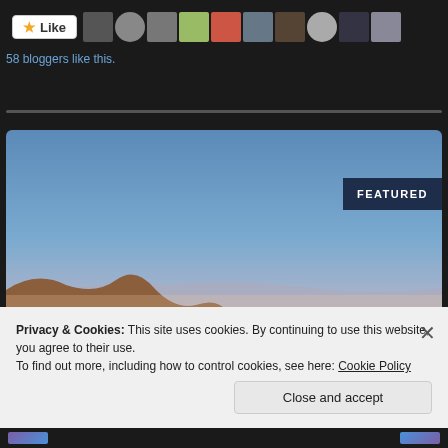[Figure (screenshot): Like button with star icon and row of blogger avatar thumbnails]
58 bloggers like this.
[Figure (photo): Landscape photo of coastal cliffs at sunset with blue sky. FEATURED badge in top right corner.]
Privacy & Cookies: This site uses cookies. By continuing to use this website, you agree to their use.
To find out more, including how to control cookies, see here: Cookie Policy
Close and accept